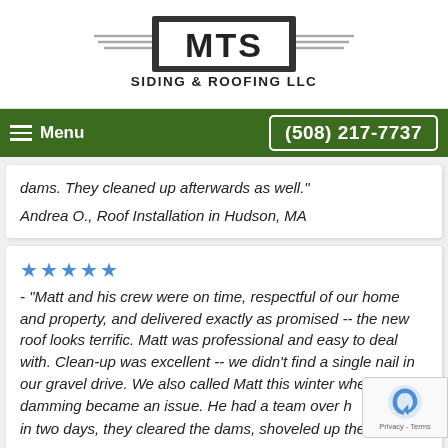[Figure (logo): MTS Siding & Roofing LLC logo with wing-like decorative elements on each side of a black-bordered box containing bold white letters MTS, and SIDING & ROOFING LLC in bold black text below]
Menu  (508) 217-7737
dams. They cleaned up afterwards as well."
Andrea O., Roof Installation in Hudson, MA
★★★★★ - "Matt and his crew were on time, respectful of our home and property, and delivered exactly as promised -- the new roof looks terrific. Matt was professional and easy to deal with. Clean-up was excellent -- we didn't find a single nail in our gravel drive. We also called Matt this winter when ice damming became an issue. He had a team over h in two days, they cleared the dams, shoveled up the